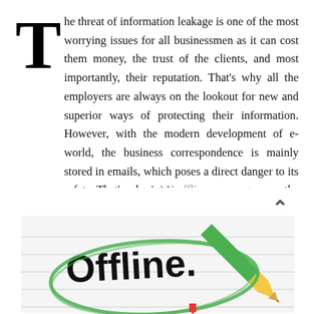The threat of information leakage is one of the most worrying issues for all businessmen as it can cost them money, the trust of the clients, and most importantly, their reputation. That's why all the employers are always on the lookout for new and superior ways of protecting their information. However, with the modern development of e-world, the business correspondence is mainly stored in emails, which poses a direct danger to its safety. That's why LAN offline messengers are the best solution. They're easy to install and ensure that all information is protected.
[Figure (illustration): An illustration showing the word 'Offline' written in handwritten style on a lined notepad, circled with a green marker, alongside a green pencil. A red pencil tip is visible at the bottom. A scroll-up arrow icon appears at the top right.]